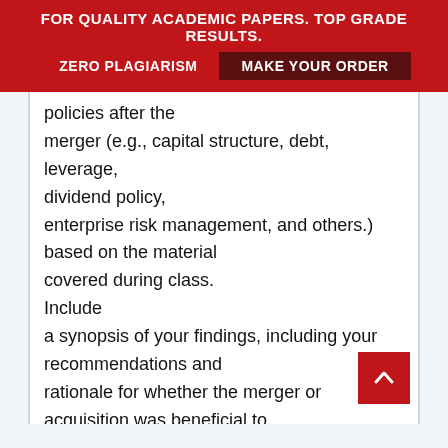FOR QUALITY ACADEMIC PAPERS. TOP GRADE RESULTS. ZERO PLAGIARISM MAKE YOUR ORDER
policies after the merger (e.g., capital structure, debt, leverage, dividend policy, enterprise risk management, and others.) based on the material covered during class. Include a synopsis of your findings, including your recommendations and rationale for whether the merger or acquisition was beneficial to both companies and your recommendation on best practices for moving forward. This analysis should be at least three pages in length, not counting the title